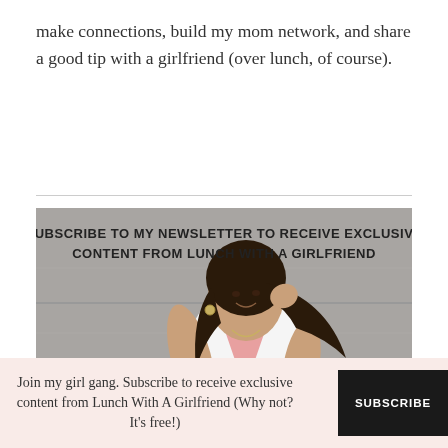make connections, build my mom network, and share a good tip with a girlfriend (over lunch, of course).
[Figure (photo): A woman with dark hair wearing a white tank top stands against a concrete wall, smiling and touching her hair. Text overlay reads: SUBSCRIBE TO MY NEWSLETTER TO RECEIVE EXCLUSIVE CONTENT FROM LUNCH WITH A GIRLFRIEND]
Join my girl gang. Subscribe to receive exclusive content from Lunch With A Girlfriend (Why not? It's free!)
SUBSCRIBE